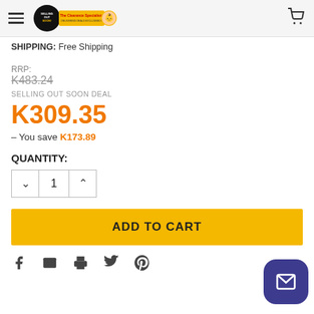Navigation bar with hamburger menu, Selling Out Soon logo, and cart icon
SHIPPING: Free Shipping
RRP: K483.24
SELLING OUT SOON DEAL
K309.35
— You save K173.89
QUANTITY:
ADD TO CART
Social share icons: Facebook, Email, Print, Twitter, Pinterest